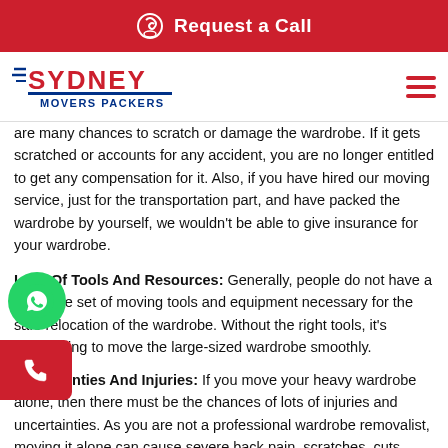Request a Call
[Figure (logo): Sydney Movers Packers logo with red text and blue underline, hamburger menu icon on the right]
are many chances to scratch or damage the wardrobe. If it gets scratched or accounts for any accident, you are no longer entitled to get any compensation for it. Also, if you have hired our moving service, just for the transportation part, and have packed the wardrobe by yourself, we wouldn't be able to give insurance for your wardrobe.
Lack Of Tools And Resources: Generally, people do not have a complete set of moving tools and equipment necessary for the safe relocation of the wardrobe. Without the right tools, it's challenging to move the large-sized wardrobe smoothly.
Uncertainties And Injuries: If you move your heavy wardrobe alone, then there must be the chances of lots of injuries and uncertainties. As you are not a professional wardrobe removalist, moving it alone can cause severe back pain, scratches, cuts, muscle pain, etc.